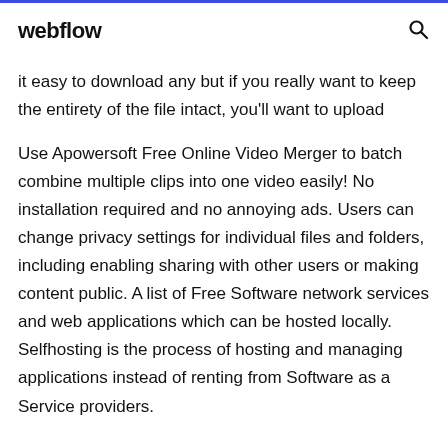webflow
it easy to download any but if you really want to keep the entirety of the file intact, you'll want to upload
Use Apowersoft Free Online Video Merger to batch combine multiple clips into one video easily! No installation required and no annoying ads. Users can change privacy settings for individual files and folders, including enabling sharing with other users or making content public. A list of Free Software network services and web applications which can be hosted locally. Selfhosting is the process of hosting and managing applications instead of renting from Software as a Service providers.